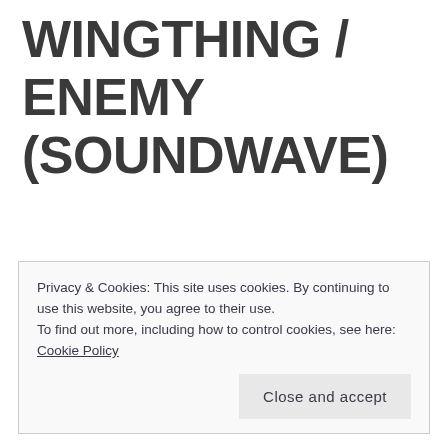WINGTHING / ENEMY (SOUNDWAVE)
Privacy & Cookies: This site uses cookies. By continuing to use this website, you agree to their use.
To find out more, including how to control cookies, see here: Cookie Policy
Close and accept